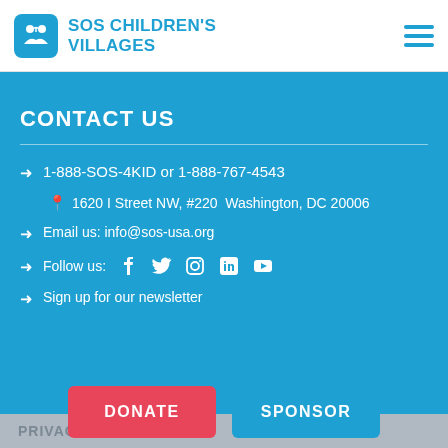SOS CHILDREN'S VILLAGES
CONTACT US
1-888-SOS-4KID or 1-888-767-4543
1620 I Street NW, #220  Washington, DC 20006
Email us: info@sos-usa.org
Follow us: [Facebook] [Twitter] [Instagram] [LinkedIn] [YouTube]
Sign up for our newsletter
DONATE
SPONSOR
PRIVACY & SECURITY